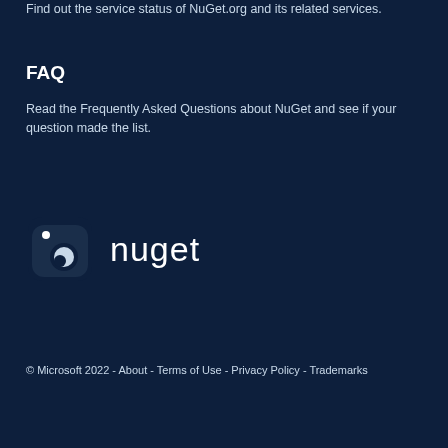Find out the service status of NuGet.org and its related services.
FAQ
Read the Frequently Asked Questions about NuGet and see if your question made the list.
[Figure (logo): NuGet logo: rounded square icon with two circles and text 'nuget']
© Microsoft 2022 - About - Terms of Use - Privacy Policy - Trademarks